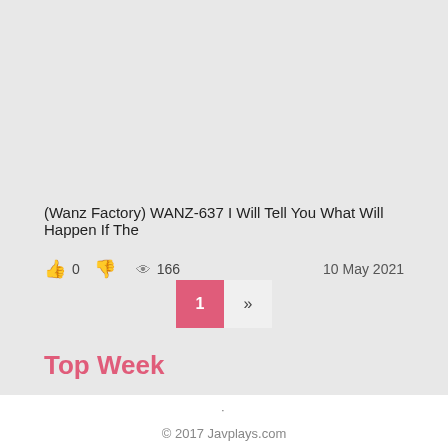(Wanz Factory) WANZ-637 I Will Tell You What Will Happen If The
👍 0 👎 👁 166   10 May 2021
1 »
Top Week
·
© 2017 Javplays.com
Advertising   Contacts   RSS   javdownup.com   javstor.com